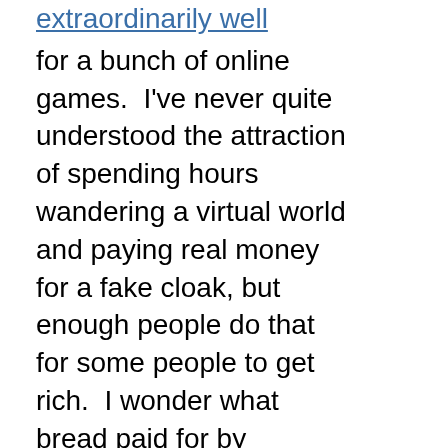extraordinarily well for a bunch of online games.  I've never quite understood the attraction of spending hours wandering a virtual world and paying real money for a fake cloak, but enough people do that for some people to get rich.  I wonder what bread paid for by obsessive-compulsives tastes like?
-Spaniards have been receiving electricity subsidies for so long that the electricity "tariff